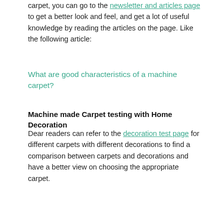carpet, you can go to the newsletter and articles page to get a better look and feel, and get a lot of useful knowledge by reading the articles on the page. Like the following article:
What are good characteristics of a machine carpet?
Machine made Carpet testing with Home Decoration
Dear readers can refer to the decoration test page for different carpets with different decorations to find a comparison between carpets and decorations and have a better view on choosing the appropriate carpet.